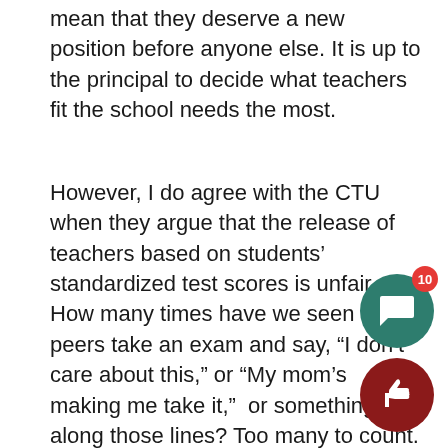mean that they deserve a new position before anyone else. It is up to the principal to decide what teachers fit the school needs the most.
However, I do agree with the CTU when they argue that the release of teachers based on students' standardized test scores is unfair. How many times have we seen our peers take an exam and say, “I don’t care about this,” or “My mom’s making me take it,”  or something along those lines? Too many to count. To hold tests accountable for judging who gets to keep their job or not is ludicrous. Not only do some stubborn students not try to perform well, but standardized test scores also reflect the economic and social status of a student. To dismiss a teacher solely based on the performance of its students on standardized tests is ridiculous method to weave out the ‘bad’ teachers.
What makes this strike so timely and interesting is tha